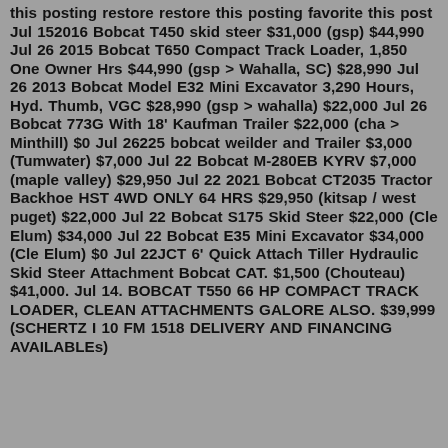this posting restore restore this posting favorite this post Jul 152016 Bobcat T450 skid steer $31,000 (gsp) $44,990 Jul 26 2015 Bobcat T650 Compact Track Loader, 1,850 One Owner Hrs $44,990 (gsp > Wahalla, SC) $28,990 Jul 26 2013 Bobcat Model E32 Mini Excavator 3,290 Hours, Hyd. Thumb, VGC $28,990 (gsp > wahalla) $22,000 Jul 26 Bobcat 773G With 18' Kaufman Trailer $22,000 (cha > Minthill) $0 Jul 26225 bobcat weilder and Trailer $3,000 (Tumwater) $7,000 Jul 22 Bobcat M-280EB KYRV $7,000 (maple valley) $29,950 Jul 22 2021 Bobcat CT2035 Tractor Backhoe HST 4WD ONLY 64 HRS $29,950 (kitsap / west puget) $22,000 Jul 22 Bobcat S175 Skid Steer $22,000 (Cle Elum) $34,000 Jul 22 Bobcat E35 Mini Excavator $34,000 (Cle Elum) $0 Jul 22JCT 6' Quick Attach Tiller Hydraulic Skid Steer Attachment Bobcat CAT. $1,500 (Chouteau) $41,000. Jul 14. BOBCAT T550 66 HP COMPACT TRACK LOADER, CLEAN ATTACHMENTS GALORE ALSO. $39,999 (SCHERTZ I 10 FM 1518 DELIVERY AND FINANCING AVAILABLEs)